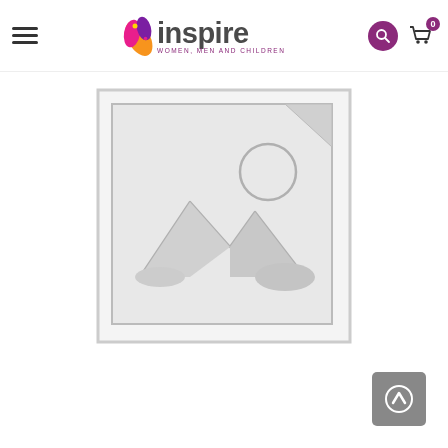Inspire Women, Men and Children — navigation header with logo, search, and cart
[Figure (illustration): Placeholder image icon — a grey outlined square with a mountain landscape and sun silhouette inside, indicating no product image available]